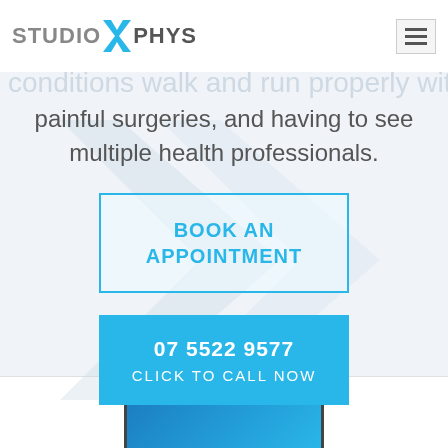STUDIO X PHYS
Helping people with foot, ankle and knee conditions walk and run properly without painful surgeries, and having to see multiple health professionals.
BOOK AN APPOINTMENT
07 5522 9577 CLICK TO CALL NOW
[Figure (screenshot): Partial screenshot of a computer/laptop screen showing a blue interface]